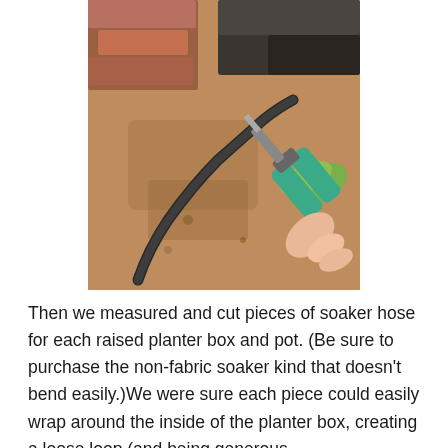[Figure (photo): A hand holding a green-handled cutting tool (snips/secateurs) cutting a black soaker hose on a weathered wooden surface, with bricks and leaves visible in the background.]
Then we measured and cut pieces of soaker hose for each raised planter box and pot. (Be sure to purchase the non-fabric soaker kind that doesn't bend easily.)We were sure each piece could easily wrap around the inside of the planter box, creating a loose loop (and being generous